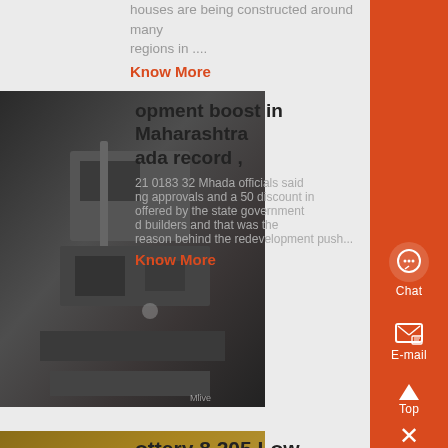houses are being constructed around many regions in ....
Know More
[Figure (photo): Dark construction site image showing machinery and concrete blocks]
opment boost in Maharashtra ada record ,
21 0183 32 Mhada officials said ng approvals and a 50 discount in offered by the state government d builders and that was the reason behind the redevelopment push...
Know More
[Figure (photo): Mining equipment and yellow machinery at a construction/mining site]
ottery 8,205 Low
21 0183 32 The whole sed process will be transparent Mhada Lottery 8,205 low-cost